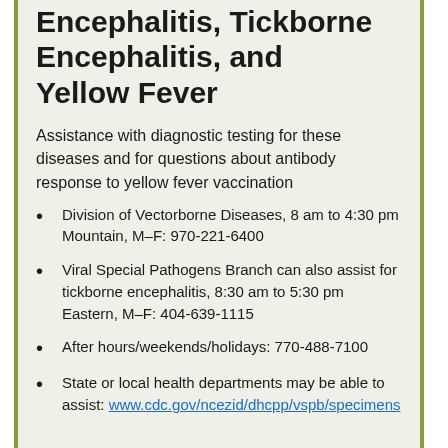Encephalitis, Tickborne Encephalitis, and Yellow Fever
Assistance with diagnostic testing for these diseases and for questions about antibody response to yellow fever vaccination
Division of Vectorborne Diseases, 8 am to 4:30 pm Mountain, M–F: 970-221-6400
Viral Special Pathogens Branch can also assist for tickborne encephalitis, 8:30 am to 5:30 pm Eastern, M–F: 404-639-1115
After hours/weekends/holidays: 770-488-7100
State or local health departments may be able to assist: www.cdc.gov/ncezid/dhcpp/vspb/specimens